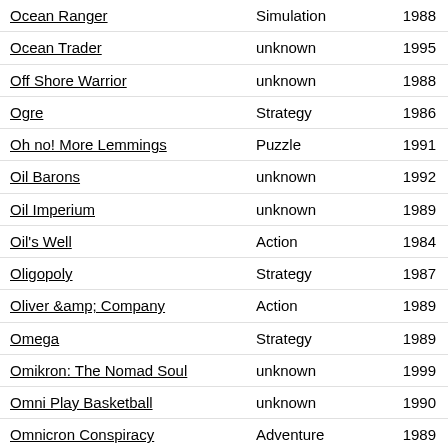| Game | Genre | Year |
| --- | --- | --- |
| Ocean Ranger | Simulation | 1988 |
| Ocean Trader | unknown | 1995 |
| Off Shore Warrior | unknown | 1988 |
| Ogre | Strategy | 1986 |
| Oh no! More Lemmings | Puzzle | 1991 |
| Oil Barons | unknown | 1992 |
| Oil Imperium | unknown | 1989 |
| Oil's Well | Action | 1984 |
| Oligopoly | Strategy | 1987 |
| Oliver &amp; Company | Action | 1989 |
| Omega | Strategy | 1989 |
| Omikron: The Nomad Soul | unknown | 1999 |
| Omni Play Basketball | unknown | 1990 |
| Omnicron Conspiracy | Adventure | 1989 |